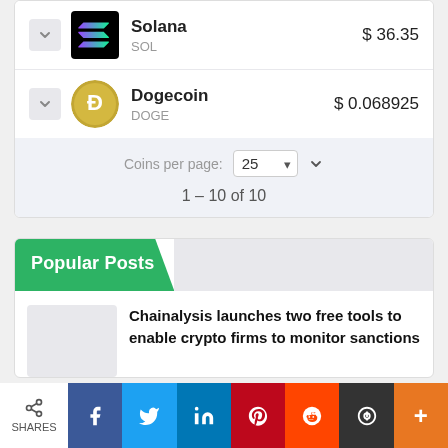|  | Coin | Price |
| --- | --- | --- |
| ▾ | Solana SOL | $ 36.35 |
| ▾ | Dogecoin DOGE | $ 0.068925 |
Coins per page: 25
1 – 10 of 10
Popular Posts
Chainalysis launches two free tools to enable crypto firms to monitor sanctions
SHARES